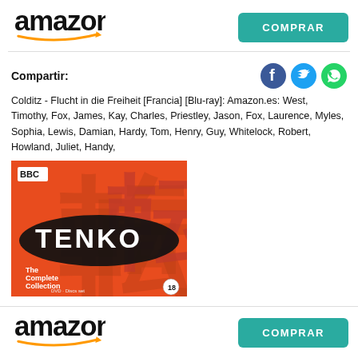[Figure (logo): Amazon logo with orange arrow, top left]
COMPRAR
Compartir:
[Figure (infographic): Social media icons: Facebook (blue circle), Twitter (teal circle), WhatsApp (green circle)]
Colditz - Flucht in die Freiheit [Francia] [Blu-ray]: Amazon.es: West, Timothy, Fox, James, Kay, Charles, Priestley, Jason, Fox, Laurence, Myles, Sophia, Lewis, Damian, Hardy, Tom, Henry, Guy, Whitelock, Robert, Howland, Juliet, Handy,
[Figure (photo): Tenko The Complete Collection DVD box set cover with red Japanese characters on orange background and BBC logo]
[Figure (logo): Amazon logo with orange arrow, bottom left]
COMPRAR